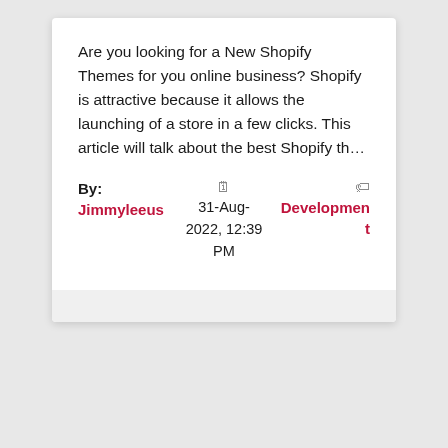Are you looking for a New Shopify Themes for you online business? Shopify is attractive because it allows the launching of a store in a few clicks. This article will talk about the best Shopify th...
By: Jimmyleeus | 31-Aug-2022, 12:39 PM | Development